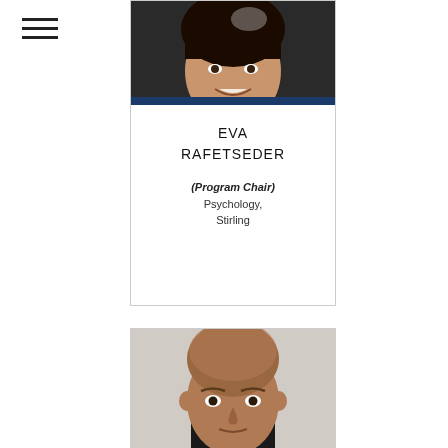ESPP
[Figure (photo): Profile photo of Eva Rafetseder, smiling woman]
EVA RAFETSEDER
(Program Chair)
Psychology, Stirling
[Figure (photo): Profile photo of a bald man looking at camera]